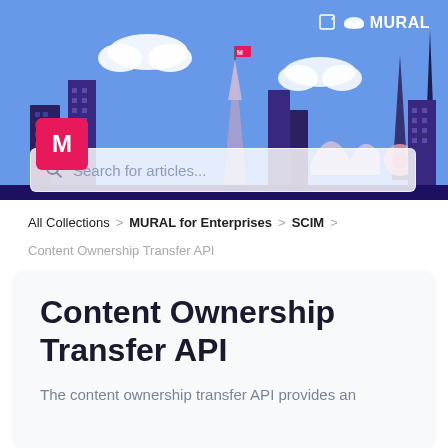[Figure (illustration): MURAL help center hero banner illustration showing a colorful city skyline with landmarks (Eiffel Tower, Sydney Opera House, Tokyo Tower, etc.) against a blue sky with clouds. Red 'M' flag on top of a building. Search bar overlay with 'Search for articles...' placeholder. MURAL logo in top right.]
All Collections > MURAL for Enterprises > SCIM >
Content Ownership Transfer API
Content Ownership Transfer API
The content ownership transfer API provides an